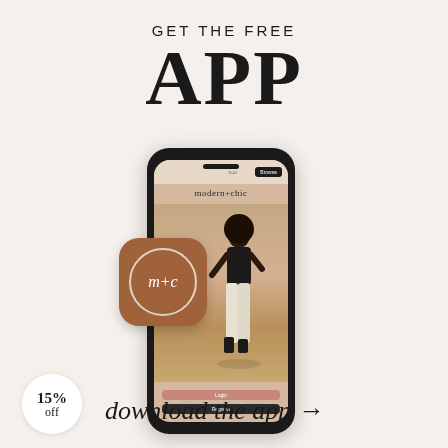GET THE FREE APP
[Figure (illustration): Smartphone mockup showing 'modern+chic' fashion app with a woman in stylish outfit, alongside an app icon with 'm+c' branding on a terracotta/brown rounded square background]
15% off
download the app →